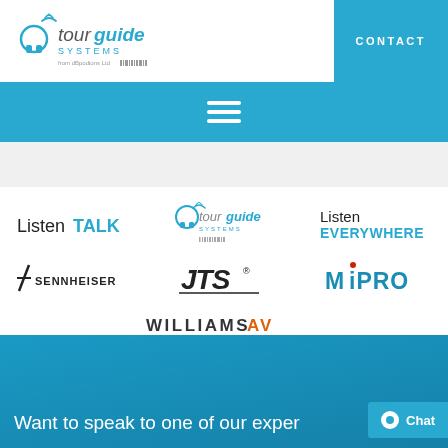[Figure (logo): Tourguide Systems logo with headphone icon, blue text, and barcode]
CONTACT
[Figure (other): Blue navigation bar with hamburger menu icon]
[Figure (other): Gray search/filter bar]
[Figure (logo): ListenTALK logo]
[Figure (logo): Tourguide Systems logo small]
[Figure (logo): Listen EVERYWHERE logo]
[Figure (logo): Sennheiser logo]
[Figure (logo): JTS logo]
[Figure (logo): MIPRO logo]
[Figure (logo): Williams AV logo]
Want to speak to one of our exper
Chat